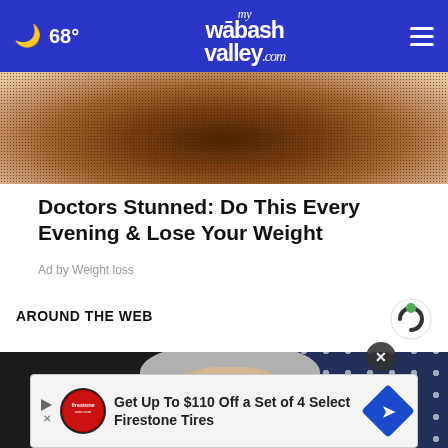68° mywabashvalley.com
[Figure (photo): Close-up of brown granulated powder/seeds in a bowl]
Doctors Stunned: Do This Every Evening & Lose Your Weight
Ad by Weight loss
AROUND THE WEB
[Figure (photo): Woman with white/gray hair and dark-rimmed glasses, American flag in background]
Get Up To $110 Off a Set of 4 Select Firestone Tires